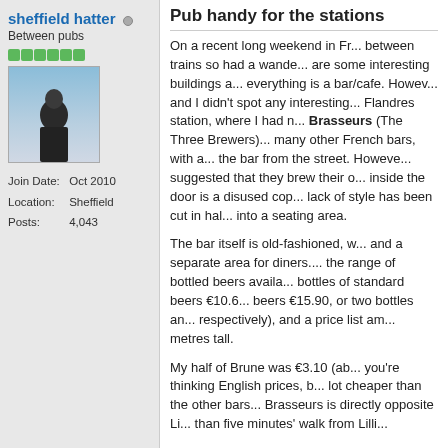sheffield hatter
Between pubs
[Figure (photo): User avatar photo of a person in dark clothing against a blue sky background]
Join Date: Oct 2010
Location: Sheffield
Posts: 4,043
Pub handy for the stations
On a recent long weekend in Fr... between trains so had a wande... are some interesting buildings a... everything is a bar/cafe. Howev... and I didn't spot any interesting... Flandres station, where I had n... Brasseurs (The Three Brewers)... many other French bars, with a... the bar from the street. Howeve... suggested that they brew their o... inside the door is a disused cop... lack of style has been cut in hal... into a seating area.
The bar itself is old-fashioned, w... and a separate area for diners.... the range of bottled beers availa... bottles of standard beers €10.6... beers €15.90, or two bottles an... respectively), and a price list am... metres tall.
My half of Brune was €3.10 (ab... you're thinking English prices, b... lot cheaper than the other bars... Brasseurs is directly opposite Li... than five minutes' walk from Lilli...